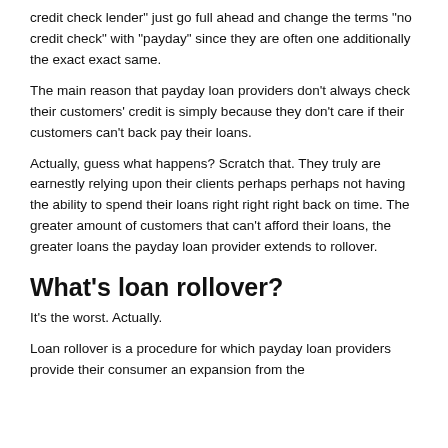credit check lender" just go full ahead and change the terms "no credit check" with "payday" since they are often one additionally the exact exact same.
The main reason that payday loan providers don't always check their customers' credit is simply because they don't care if their customers can't back pay their loans.
Actually, guess what happens? Scratch that. They truly are earnestly relying upon their clients perhaps perhaps not having the ability to spend their loans right right right back on time. The greater amount of customers that can't afford their loans, the greater loans the payday loan provider extends to rollover.
What's loan rollover?
It's the worst. Actually.
Loan rollover is a procedure for which payday loan providers provide their consumer an expansion from the